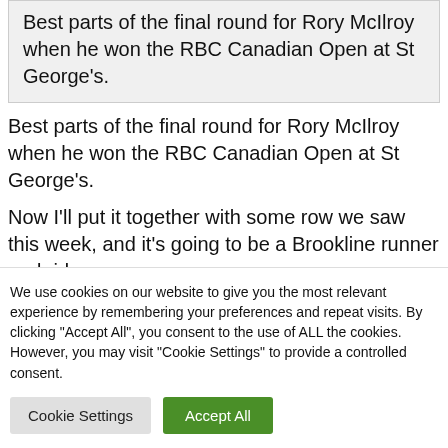Best parts of the final round for Rory McIlroy when he won the RBC Canadian Open at St George's.
Best parts of the final round for Rory McIlroy when he won the RBC Canadian Open at St George's.
Now I'll put it together with some row we saw this week, and it's going to be a Brookline runner and rider.
We use cookies on our website to give you the most relevant experience by remembering your preferences and repeat visits. By clicking "Accept All", you consent to the use of ALL the cookies. However, you may visit "Cookie Settings" to provide a controlled consent.